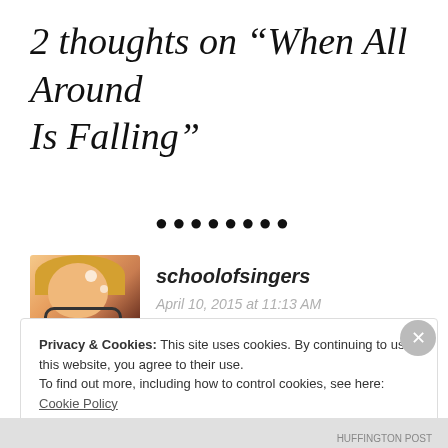2 thoughts on “When All Around Is Falling”
[Figure (illustration): Decorative dots/bullet row separator]
[Figure (photo): Avatar photo of schoolofsingers - woman with glasses and blonde hair]
schoolofsingers
April 10, 2015 at 11:13 AM
Beautiful
Privacy & Cookies: This site uses cookies. By continuing to use this website, you agree to their use.
To find out more, including how to control cookies, see here: Cookie Policy
Close and accept